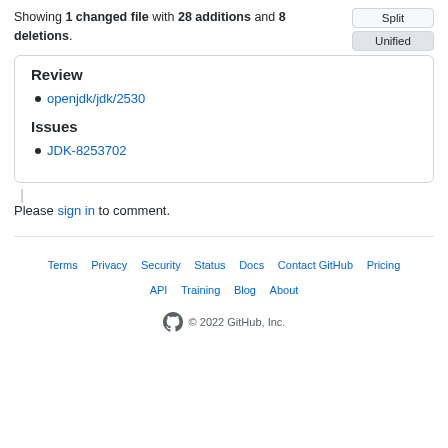Showing 1 changed file with 28 additions and 8 deletions.
Review
openjdk/jdk/2530
Issues
JDK-8253702
Please sign in to comment.
Terms · Privacy · Security · Status · Docs · Contact GitHub · Pricing · API · Training · Blog · About · © 2022 GitHub, Inc.